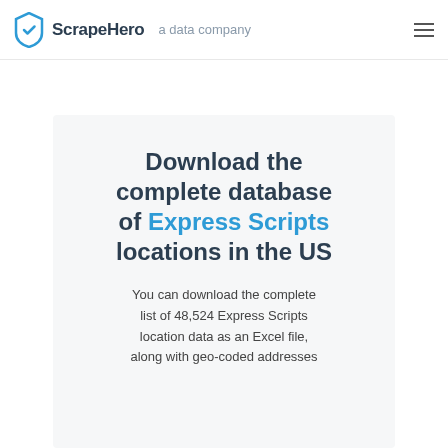ScrapeHero  a data company
Download the complete database of Express Scripts locations in the US
You can download the complete list of 48,524 Express Scripts location data as an Excel file, along with geo-coded addresses